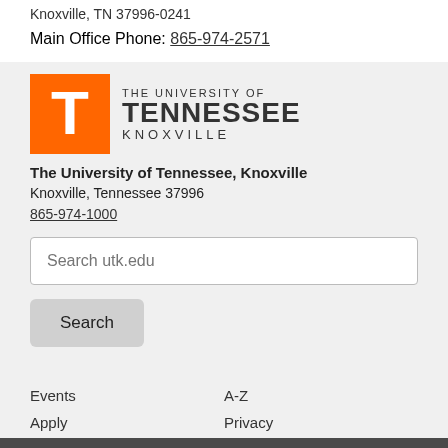Knoxville, TN 37996-0241
Main Office Phone: 865-974-2571
[Figure (logo): University of Tennessee Knoxville logo with orange T block letter and text THE UNIVERSITY OF TENNESSEE KNOXVILLE]
The University of Tennessee, Knoxville
Knoxville, Tennessee 37996
865-974-1000
Search utk.edu
Search
Events
A-Z
Apply
Privacy
Map
Directory
Give to UT
Accessibility